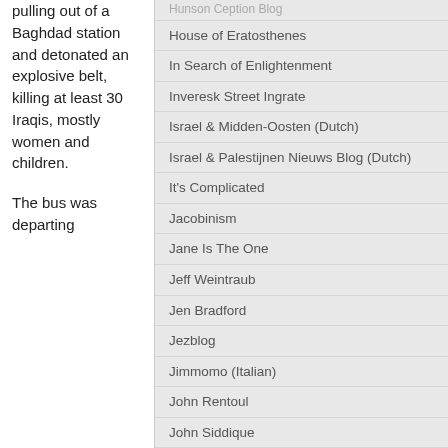pulling out of a Baghdad station and detonated an explosive belt, killing at least 30 Iraqis, mostly women and children.

The bus was departing
House of Eratosthenes
In Search of Enlightenment
Inveresk Street Ingrate
Israel & Midden-Oosten (Dutch)
Israel & Palestijnen Nieuws Blog (Dutch)
It's Complicated
Jacobinism
Jane Is The One
Jeff Weintraub
Jen Bradford
Jezblog
Jimmomo (Italian)
John Rentoul
John Siddique
John's Labour Blog
Johninnit
Jonathan Foreman
Jonathan Freedland